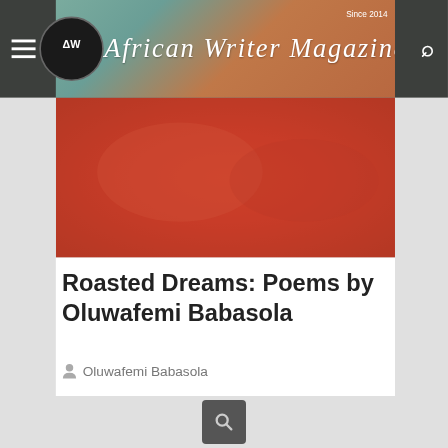African Writer Magazine — Since 2014
[Figure (photo): Red/orange abstract background hero banner image]
Roasted Dreams: Poems by Oluwafemi Babasola
Oluwafemi Babasola
[Figure (photo): Child standing atop a tall ladder looking through a telescope against a pink/red cloudy sky background]